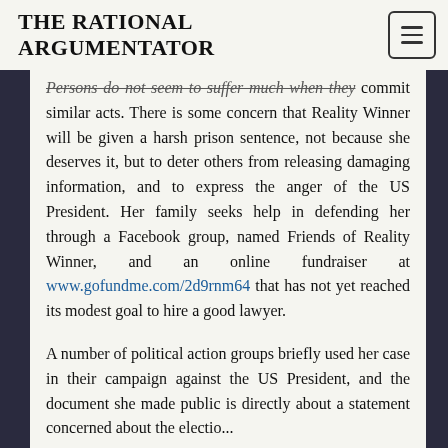THE RATIONAL ARGUMENTATOR
Persons do not seem to suffer much when they commit similar acts. There is some concern that Reality Winner will be given a harsh prison sentence, not because she deserves it, but to deter others from releasing damaging information, and to express the anger of the US President. Her family seeks help in defending her through a Facebook group, named Friends of Reality Winner, and an online fundraiser at www.gofundme.com/2d9rnm64 that has not yet reached its modest goal to hire a good lawyer.

A number of political action groups briefly used her case in their campaign against the US President, and the document she made public is directly about a statement concerned about the election...